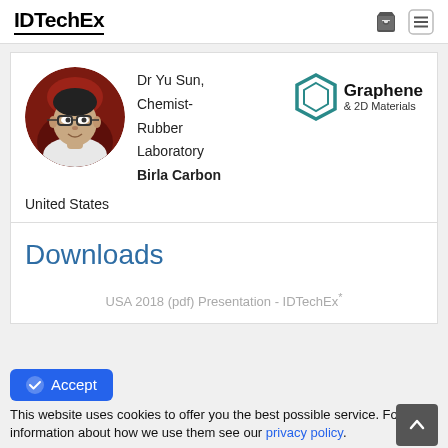IDTechEx
[Figure (photo): Circular profile photo of Dr Yu Sun, a man wearing glasses, against a dark red background]
Dr Yu Sun, Chemist-Rubber Laboratory
Birla Carbon
United States
[Figure (logo): Graphene & 2D Materials hexagon logo with teal/dark cyan color and bold text]
Downloads
USA 2018 (pdf) Presentation - IDTechEx*
This website uses cookies to offer you the best possible service. For more information about how we use them see our privacy policy.